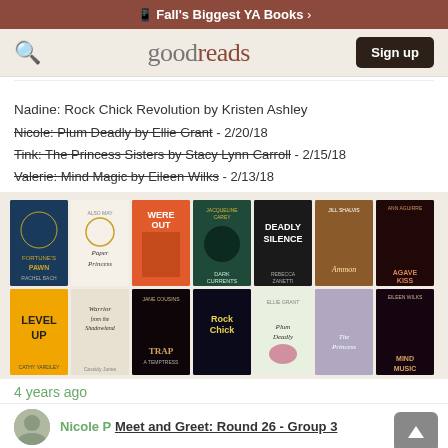Fall's Biggest YA Books >
[Figure (logo): Goodreads logo with search icon and Sign up button]
Nadine: Rock Chick Revolution by Kristen Ashley
Nicole: Plum Deadly by Ellie Grant - 2/20/18 (strikethrough)
Tink: The Princess Sisters by Stacy Lynn Carroll - 2/15/18 (strikethrough)
Valerie: Mind Magic by Eileen Wilks - 2/13/18 (strikethrough)
[Figure (illustration): Grid of 14 book covers in 2 rows: Fortune's Pawn by Rachel Bach, Paper Princess, Were Out, Jacqueline Carey Dark Currents, Deadly Silence by Rebecca Zanetti, Ammon, Agave Kiss (Ann Aguirre), Level Up by Cathy Yardley, Warrior from the Shadowland, Jane Cousins Trap, Rock Chick, Plum Deadly, The Princess, Eileen Wilks Mind Music]
4 years ago
Nicole P Meet and Greet: Round 26 - Group 3